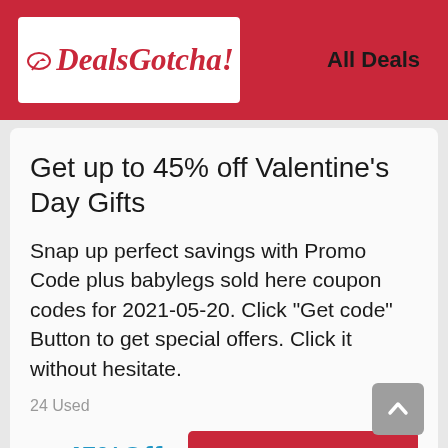DealsGotcha! | All Deals
Get up to 45% off Valentine's Day Gifts
Snap up perfect savings with Promo Code plus babylegs sold here coupon codes for 2021-05-20. Click "Get code" Button to get special offers. Click it without hesitate.
24 Used
45%Off
Get Deal